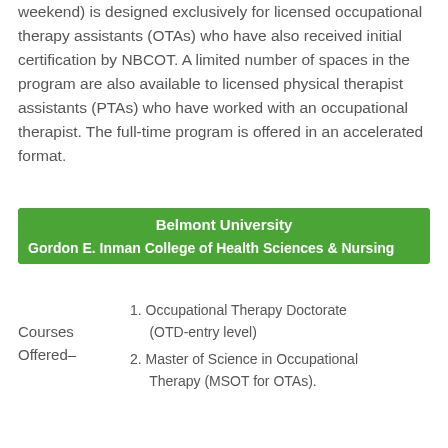weekend) is designed exclusively for licensed occupational therapy assistants (OTAs) who have also received initial certification by NBCOT. A limited number of spaces in the program are also available to licensed physical therapist assistants (PTAs) who have worked with an occupational therapist. The full-time program is offered in an accelerated format.
| Belmont University | Gordon E. Inman College of Health Sciences & Nursing |
| --- | --- |
Courses Offered–
1. Occupational Therapy Doctorate (OTD-entry level)
2. Master of Science in Occupational Therapy (MSOT for OTAs).